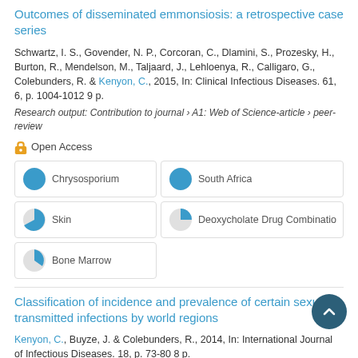Outcomes of disseminated emmonsiosis: a retrospective case series
Schwartz, I. S., Govender, N. P., Corcoran, C., Dlamini, S., Prozesky, H., Burton, R., Mendelson, M., Taljaard, J., Lehloenya, R., Calligaro, G., Colebunders, R. & Kenyon, C., 2015, In: Clinical Infectious Diseases. 61, 6, p. 1004-1012 9 p.
Research output: Contribution to journal › A1: Web of Science-article › peer-review
Open Access
Chrysosporium 100%
South Africa 100%
Skin 75%
Deoxycholate Drug Combination 50%
Bone Marrow 40%
Classification of incidence and prevalence of certain sexually transmitted infections by world regions
Kenyon, C., Buyze, J. & Colebunders, R., 2014, In: International Journal of Infectious Diseases. 18, p. 73-80 8 p.
Research output: Contribution to journal › A1: Web of Science-article